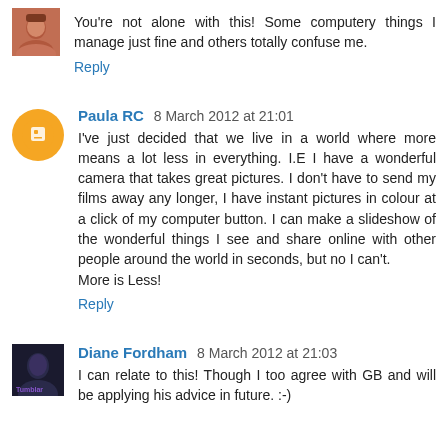You're not alone with this! Some computery things I manage just fine and others totally confuse me.
Reply
Paula RC 8 March 2012 at 21:01
I've just decided that we live in a world where more means a lot less in everything. I.E I have a wonderful camera that takes great pictures. I don't have to send my films away any longer, I have instant pictures in colour at a click of my computer button. I can make a slideshow of the wonderful things I see and share online with other people around the world in seconds, but no I can't.
More is Less!
Reply
Diane Fordham 8 March 2012 at 21:03
I can relate to this! Though I too agree with GB and will be applying his advice in future. :-)